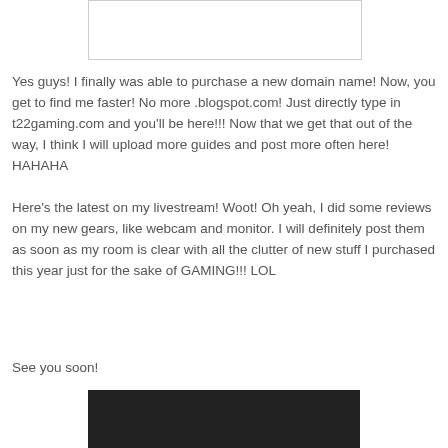[Figure (other): White rectangle image placeholder at top of page]
Yes guys! I finally was able to purchase a new domain name! Now, you get to find me faster! No more .blogspot.com! Just directly type in t22gaming.com and you'll be here!!! Now that we get that out of the way, I think I will upload more guides and post more often here! HAHAHA
Here's the latest on my livestream! Woot! Oh yeah, I did some reviews on my new gears, like webcam and monitor. I will definitely post them as soon as my room is clear with all the clutter of new stuff I purchased this year just for the sake of GAMING!!! LOL
See you soon!
[Figure (other): Dark/black video embed placeholder at bottom of page]